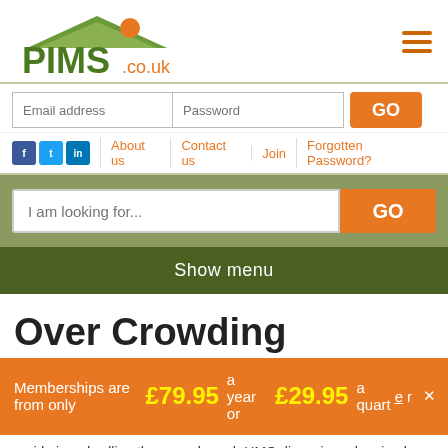[Figure (logo): PIMS.co.uk logo with house/roof graphic above text]
Email address
Password
GO
About us | Contact us | Join | Forgotten Password?
I am looking for...
GO
Show menu
Over Crowding
Memberships are from only £79.95 a year or £29.95 a quarter
reside in a dwelling they may breach HMO, licensing, planning laws